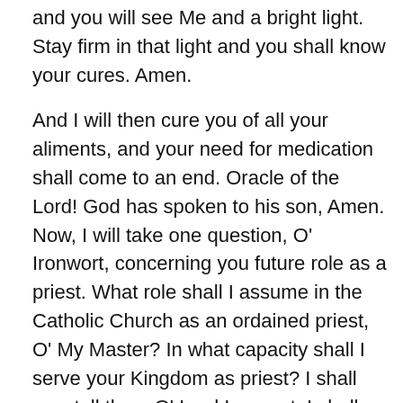and you will see Me and a bright light. Stay firm in that light and you shall know your cures. Amen.
And I will then cure you of all your aliments, and your need for medication shall come to an end. Oracle of the Lord! God has spoken to his son, Amen. Now, I will take one question, O' Ironwort, concerning you future role as a priest. What role shall I assume in the Catholic Church as an ordained priest, O' My Master? In what capacity shall I serve your Kingdom as priest? I shall now tell thee, O' Lord Ironwort. I shall assign you to Councils set up for organizing the translations of My Holy Word to other languages. Amen. And you will yourself be one of the translators of My Holy Bible to the vernacular. Furthermore, you shall write tomes of My prophetic revelations to you, as well as conversations between you